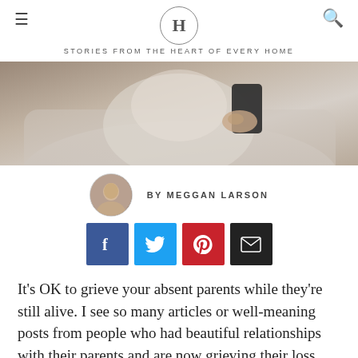STORIES FROM THE HEART OF EVERY HOME
[Figure (photo): Person sitting on couch holding a smartphone, partial view showing torso and hands]
BY MEGGAN LARSON
[Figure (infographic): Row of social sharing buttons: Facebook (blue), Twitter (light blue), Pinterest (red), Email (black)]
It’s OK to grieve your absent parents while they’re still alive. I see so many articles or well-meaning posts from people who had beautiful relationships with their parents and are now grieving their loss. It’s amazing to read about such incredible parent-child relationships, but it also usually comes with guilt for me. “Call your